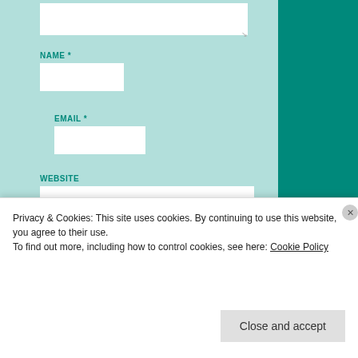[Figure (screenshot): Web form screenshot showing comment form fields (NAME, EMAIL, WEBSITE), checkboxes for email notifications, and a POST COMMENT button on a light teal background with dark teal sidebar]
NAME *
EMAIL *
WEBSITE
NOTIFY ME OF NEW COMMENTS VIA EMAIL.
NOTIFY ME OF NEW POSTS VIA EMAIL.
POST COMMENT
Privacy & Cookies: This site uses cookies. By continuing to use this website, you agree to their use.
To find out more, including how to control cookies, see here: Cookie Policy
Close and accept